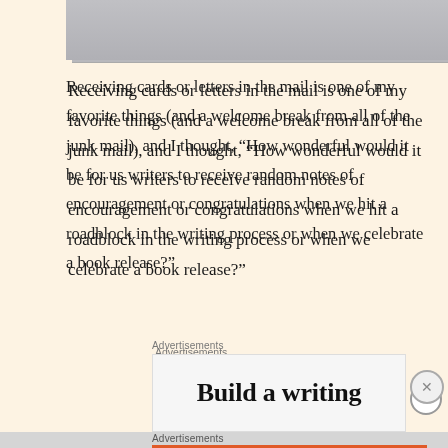[Figure (photo): Gray image at the top of the page, partially cropped]
Receiving cards or letters in the mail is one of my favorite things (and a welcome break from all of the junk mail), and I thought, “How wonderful would it be for us writers to receive random notes of encouragement or congratulations when we hit a roadblock in the writing process or when we celebrate a book release?”
Advertisements
[Figure (screenshot): Advertisement banner with text 'Build a writing' visible]
Advertisements
[Figure (screenshot): DuckDuckGo advertisement: Search, browse, and email with more privacy. All in One Free App. DuckDuckGo logo on an orange background with a phone mockup.]